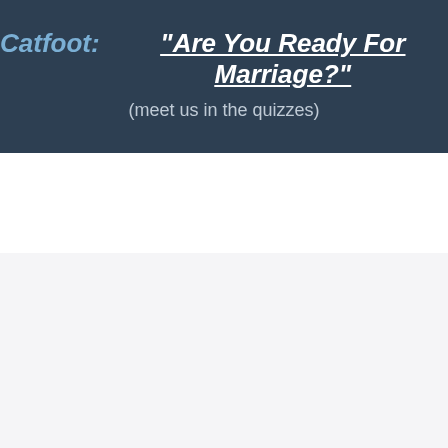Catfoot: "Are You Ready For Marriage?" (meet us in the quizzes)